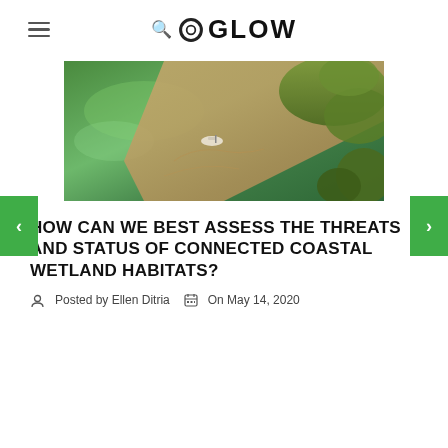☰ 🔍 ○ GLOW
[Figure (photo): Aerial view of a coastal wetland habitat showing green water, a sandy shore with a small boat, and vegetation/mangroves]
HOW CAN WE BEST ASSESS THE THREATS AND STATUS OF CONNECTED COASTAL WETLAND HABITATS?
Posted by Ellen Ditria   On May 14, 2020